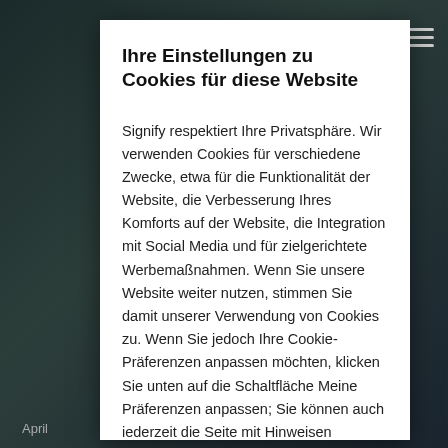Ihre Einstellungen zu Cookies für diese Website
Signify respektiert Ihre Privatsphäre. Wir verwenden Cookies für verschiedene Zwecke, etwa für die Funktionalität der Website, die Verbesserung Ihres Komforts auf der Website, die Integration mit Social Media und für zielgerichtete Werbemaßnahmen. Wenn Sie unsere Website weiter nutzen, stimmen Sie damit unserer Verwendung von Cookies zu. Wenn Sie jedoch Ihre Cookie-Präferenzen anpassen möchten, klicken Sie unten auf die Schaltfläche Meine Präferenzen anpassen; Sie können auch iederzeit die Seite mit Hinweisen
April